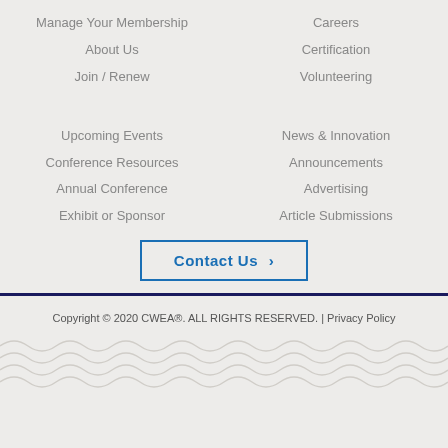Manage Your Membership
Careers
About Us
Certification
Join / Renew
Volunteering
Upcoming Events
News & Innovation
Conference Resources
Announcements
Annual Conference
Advertising
Exhibit or Sponsor
Article Submissions
Contact Us ›
Copyright © 2020 CWEA®. ALL RIGHTS RESERVED. | Privacy Policy